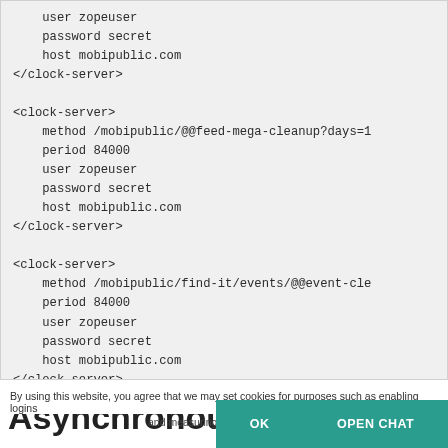user zopeuser
    password secret
    host mobipublic.com
</clock-server>

<clock-server>
    method /mobipublic/@@feed-mega-cleanup?days=1
    period 84000
    user zopeuser
    password secret
    host mobipublic.com
</clock-server>

<clock-server>
    method /mobipublic/find-it/events/@@event-cle
    period 84000
    user zopeuser
    password secret
    host mobipublic.com
</clock-server>
By using this website, you agree that we may set cookies for purposes such as enabling logins and measuring visitor activity
Asynchronous